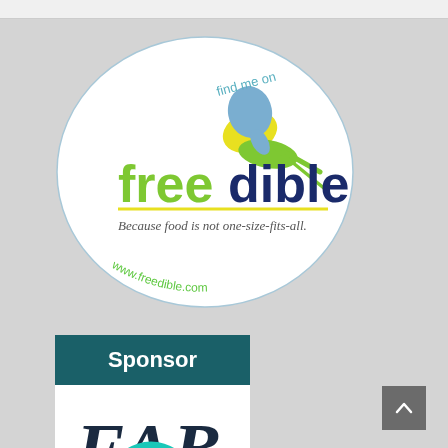[Figure (logo): Freedible logo badge: an oval outline containing a dragonfly graphic with blue/green/yellow wing shapes, text 'find me on' in teal at top, 'freedible' in large text (free in green, dible in dark blue), tagline 'Because food is not one-size-fits-all.' and 'www.freedible.com' in green along the bottom curve]
[Figure (logo): FAB Food Allergy Bloggers Conference Sponsor badge: dark teal header with white 'Sponsor' text, white body with FAB logo in dark navy and teal ribbon, text 'Food Allergy Bloggers Conference November 4,5 & 6']